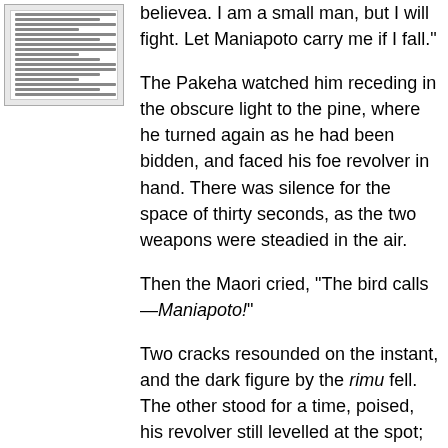[Figure (other): Thumbnail image of a document page showing dense text]
believea. I am a small man, but I will fight. Let Maniapoto carry me if I fall."
The Pakeha watched him receding in the obscure light to the pine, where he turned again as he had been bidden, and faced his foe revolver in hand. There was silence for the space of thirty seconds, as the two weapons were steadied in the air.
Then the Maori cried, "The bird calls—Maniapoto!"
Two cracks resounded on the instant, and the dark figure by the rimu fell. The other stood for a time, poised, his revolver still levelled at the spot; and then he walked deliberately to the prostrate man and bent over him. "Through the heart," he murmured. "I was not on Bendigo for nothing," with which he duck and his